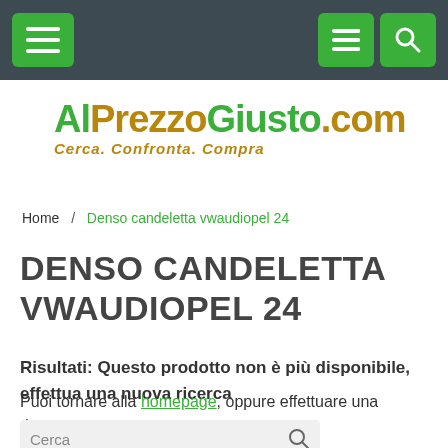AlPrezzoGiusto.com — Cerca. Confronta. Compra
Home / Denso candeletta vwaudiopel 24
DENSO CANDELETTA VWAUDIOPEL 24
Risultati: Questo prodotto non è più disponibile, effettua una nuova ricerca
Puoi tornare alla homepage, oppure effettuare una ricerca.
Cerca